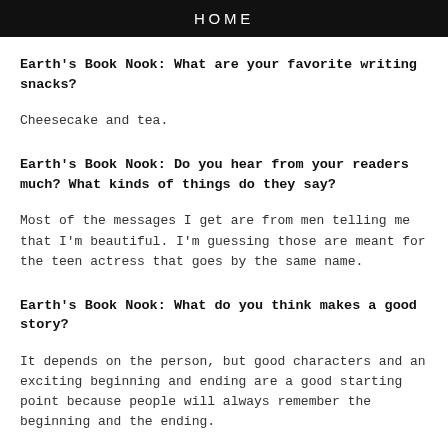HOME
Earth's Book Nook: What are your favorite writing snacks?
Cheesecake and tea.
Earth's Book Nook: Do you hear from your readers much? What kinds of things do they say?
Most of the messages I get are from men telling me that I'm beautiful. I'm guessing those are meant for the teen actress that goes by the same name.
Earth's Book Nook: What do you think makes a good story?
It depends on the person, but good characters and an exciting beginning and ending are a good starting point because people will always remember the beginning and the ending.
VANESSA MORGAN AT 12:01 AM